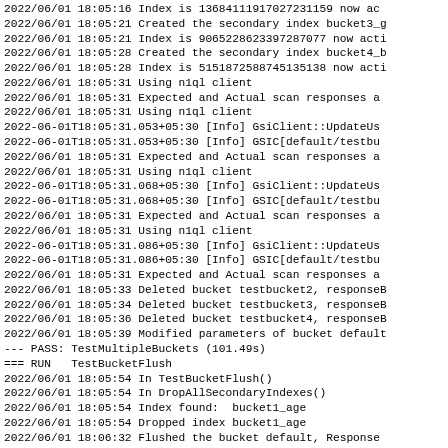2022/06/01 18:05:16 Index is 13684111917027231159 now ac
2022/06/01 18:05:21 Created the secondary index bucket3_g
2022/06/01 18:05:21 Index is 9065228623397287077 now acti
2022/06/01 18:05:28 Created the secondary index bucket4_b
2022/06/01 18:05:28 Index is 5151872588745135138 now acti
2022/06/01 18:05:31 Using n1ql client
2022/06/01 18:05:31 Expected and Actual scan responses a
2022/06/01 18:05:31 Using n1ql client
2022-06-01T18:05:31.053+05:30 [Info] GsiClient::UpdateUs
2022-06-01T18:05:31.053+05:30 [Info] GSIC[default/testbu
2022/06/01 18:05:31 Expected and Actual scan responses a
2022/06/01 18:05:31 Using n1ql client
2022-06-01T18:05:31.068+05:30 [Info] GsiClient::UpdateUs
2022-06-01T18:05:31.068+05:30 [Info] GSIC[default/testbu
2022/06/01 18:05:31 Expected and Actual scan responses a
2022/06/01 18:05:31 Using n1ql client
2022-06-01T18:05:31.086+05:30 [Info] GsiClient::UpdateUs
2022-06-01T18:05:31.086+05:30 [Info] GSIC[default/testbu
2022/06/01 18:05:31 Expected and Actual scan responses a
2022/06/01 18:05:33 Deleted bucket testbucket2, responseB
2022/06/01 18:05:34 Deleted bucket testbucket3, responseB
2022/06/01 18:05:36 Deleted bucket testbucket4, responseB
2022/06/01 18:05:39 Modified parameters of bucket default
--- PASS: TestMultipleBuckets (101.49s)
=== RUN   TestBucketFlush
2022/06/01 18:05:54 In TestBucketFlush()
2022/06/01 18:05:54 In DropAllSecondaryIndexes()
2022/06/01 18:05:54 Index found:  bucket1_age
2022/06/01 18:05:54 Dropped index bucket1_age
2022/06/01 18:06:32 Flushed the bucket default, Response